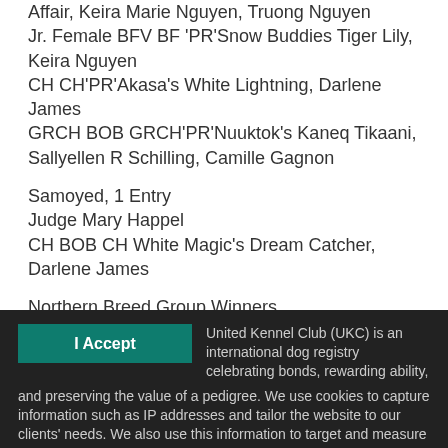Affair, Keira Marie Nguyen, Truong Nguyen
Jr. Female BFV BF 'PR'Snow Buddies Tiger Lily, Keira Nguyen
CH CH'PR'Akasa's White Lightning, Darlene James
GRCH BOB GRCH'PR'Nuuktok's Kaneq Tikaani, Sallyellen R Schilling, Camille Gagnon
Samoyed, 1 Entry
Judge Mary Happel
CH BOB CH White Magic's Dream Catcher, Darlene James
Northern Breed Group Winners
I Accept
United Kennel Club (UKC) is an international dog registry celebrating bonds, rewarding ability, and preserving the value of a pedigree. We use cookies to capture information such as IP addresses and tailor the website to our clients' needs. We also use this information to target and measure promotional material. Please see our Privacy Policy for more information.